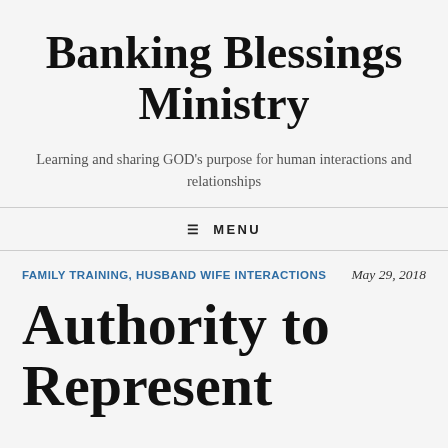Banking Blessings Ministry
Learning and sharing GOD's purpose for human interactions and relationships
≡ MENU
FAMILY TRAINING, HUSBAND WIFE INTERACTIONS
May 29, 2018
Authority to Represent